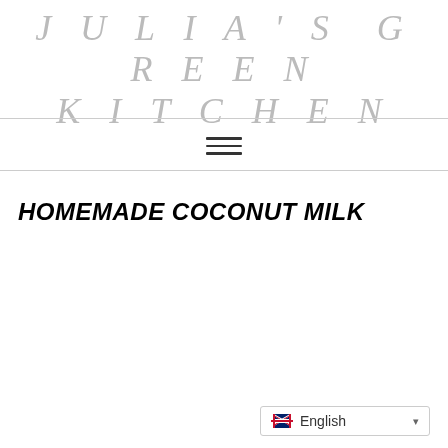JULIA'S GREEN KITCHEN
HOMEMADE COCONUT MILK
English